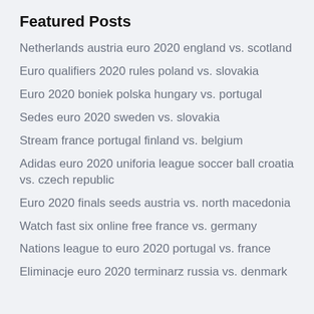Featured Posts
Netherlands austria euro 2020 england vs. scotland
Euro qualifiers 2020 rules poland vs. slovakia
Euro 2020 boniek polska hungary vs. portugal
Sedes euro 2020 sweden vs. slovakia
Stream france portugal finland vs. belgium
Adidas euro 2020 uniforia league soccer ball croatia vs. czech republic
Euro 2020 finals seeds austria vs. north macedonia
Watch fast six online free france vs. germany
Nations league to euro 2020 portugal vs. france
Eliminacje euro 2020 terminarz russia vs. denmark